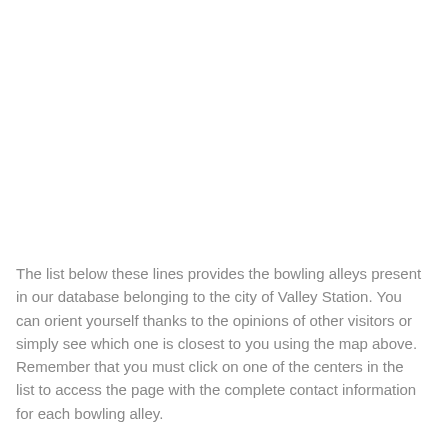The list below these lines provides the bowling alleys present in our database belonging to the city of Valley Station. You can orient yourself thanks to the opinions of other visitors or simply see which one is closest to you using the map above. Remember that you must click on one of the centers in the list to access the page with the complete contact information for each bowling alley.